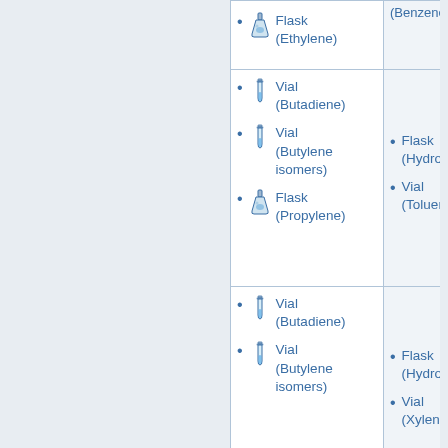| Column 1 (partial) | Column 2 (partial) | Column 3 (cropped) |
| --- | --- | --- |
| Flask (Ethylene) | (Benzene) | [cropped] |
| Vial (Butadiene)
Vial (Butylene isomers)
Flask (Propylene) | Flask (Hydrogen)
Vial (Toluene) | [cropped] |
| Vial (Butadiene)
Vial (Butylene isomers) | Flask (Hydrogen)
Vial (Xylene) | [cropped] |